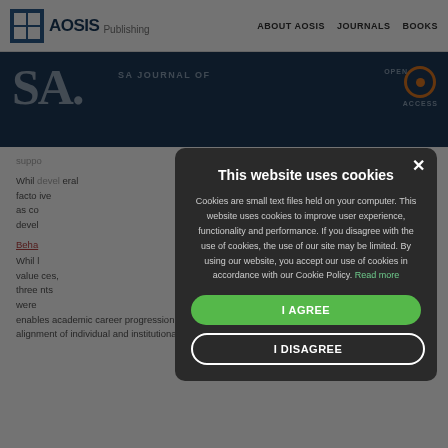AOSIS Publishing  ABOUT AOSIS  JOURNALS  BOOKS
SA. | SA JOURNAL OF
suppo...
Whil... several factors... as co... devel...
Beha...
Whil... values... three... ints were... enables academic career progression. These behaviours include the articulation of team values, alignment of individual and institutional values, as well as a systemic approach.
[Figure (screenshot): Cookie consent modal dialog overlay on AOSIS Publishing website. Modal has dark background with title 'This website uses cookies', explanatory text about cookie usage, a 'Read more' link, an 'I AGREE' green button, and an 'I DISAGREE' outlined button. A close X button is in the top-right corner.]